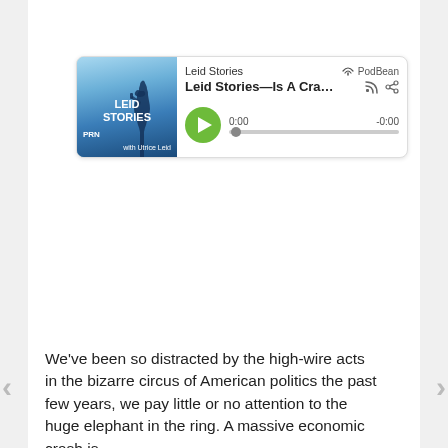[Figure (screenshot): PodBean podcast player embed for 'Leid Stories' showing episode title 'Leid Stories—Is A Cra...' with play button, progress bar showing 0:00 / -0:00, and podcast thumbnail with Statue of Liberty silhouette and text 'LEID STORIES PRN with Utrice Leid']
We've been so distracted by the high-wire acts in the bizarre circus of American politics the past few years, we pay little or no attention to the huge elephant in the ring. A massive economic crash is